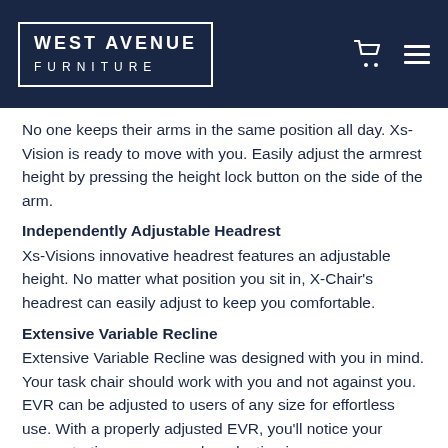WEST AVENUE FURNITURE
No one keeps their arms in the same position all day. Xs-Vision is ready to move with you. Easily adjust the armrest height by pressing the height lock button on the side of the arm.
Independently Adjustable Headrest
Xs-Visions innovative headrest features an adjustable height. No matter what position you sit in, X-Chair’s headrest can easily adjust to keep you comfortable.
Extensive Variable Recline
Extensive Variable Recline was designed with you in mind. Your task chair should work with you and not against you. EVR can be adjusted to users of any size for effortless use. With a properly adjusted EVR, you’ll notice your concentration, energy, and production increase.
White Chair Frame
Who said office chairs have to come in all black? Xs-Vision breaks away from the standard and is only